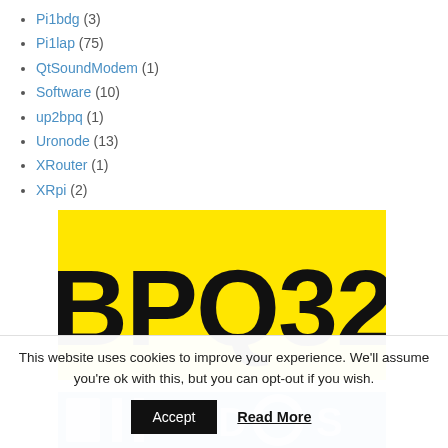Pi1bdg (3)
Pi1lap (75)
QtSoundModem (1)
Software (10)
up2bpq (1)
Uronode (13)
XRouter (1)
XRpi (2)
[Figure (logo): BPQ32 logo — bold black text 'BPQ32' on a bright yellow background]
[Figure (logo): Partial EuroBOS or similar logo on a blue background, partially visible at bottom]
This website uses cookies to improve your experience. We'll assume you're ok with this, but you can opt-out if you wish.